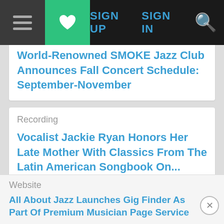SIGN UP  SIGN IN
World-Renowned SMOKE Jazz Club Announces Fall Concert Schedule: September-November
Recording
Vocalist Jackie Ryan Honors Her Late Mother With Classics From The Latin American Songbook On...
[Figure (other): POPULAR badge/label in blue with speech bubble pointer]
Website
All About Jazz Launches Gig Finder As Part Of Premium Musician Page Service